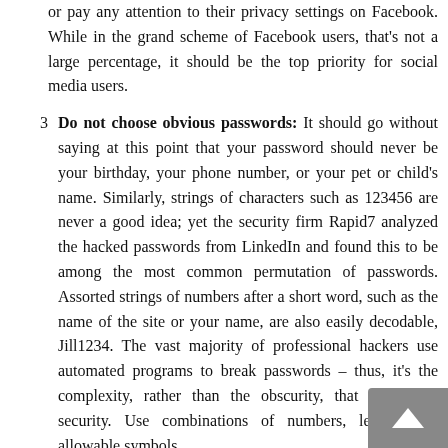or pay any attention to their privacy settings on Facebook. While in the grand scheme of Facebook users, that's not a large percentage, it should be the top priority for social media users.
3  Do not choose obvious passwords: It should go without saying at this point that your password should never be your birthday, your phone number, or your pet or child's name. Similarly, strings of characters such as 123456 are never a good idea; yet the security firm Rapid7 analyzed the hacked passwords from LinkedIn and found this to be among the most common permutation of passwords. Assorted strings of numbers after a short word, such as the name of the site or your name, are also easily decodable, Jill1234. The vast majority of professional hackers use automated programs to break passwords – thus, it's the complexity, rather than the obscurity, that gives you security. Use combinations of numbers, letters, and allowable symbols.
4  Never use the same password for everything: